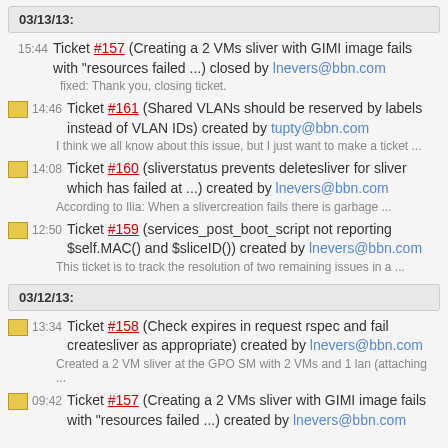03/13/13:
15:44 Ticket #157 (Creating a 2 VMs sliver with GIMI image fails with "resources failed ...) closed by lnevers@bbn.com
fixed: Thank you, closing ticket.
14:46 Ticket #161 (Shared VLANs should be reserved by labels instead of VLAN IDs) created by tupty@bbn.com
I think we all know about this issue, but I just want to make a ticket ...
14:08 Ticket #160 (sliverstatus prevents deletesliver for sliver which has failed at ...) created by lnevers@bbn.com
According to Ilia: When a slivercreation fails there is garbage ...
12:50 Ticket #159 (services_post_boot_script not reporting $self.MAC() and $sliceID()) created by lnevers@bbn.com
This ticket is to track the resolution of two remaining issues in a ...
03/12/13:
13:34 Ticket #158 (Check expires in request rspec and fail createsliver as appropriate) created by lnevers@bbn.com
Created a 2 VM sliver at the GPO SM with 2 VMs and 1 lan (attaching ...
09:42 Ticket #157 (Creating a 2 VMs sliver with GIMI image fails with "resources failed ...) created by lnevers@bbn.com